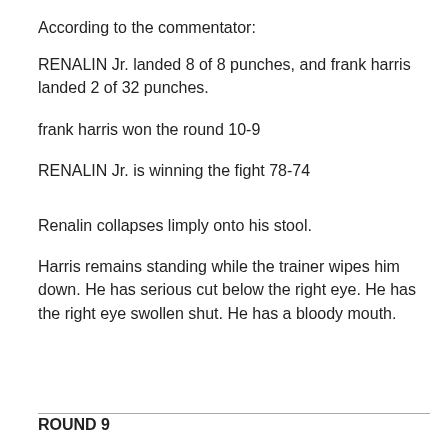According to the commentator:
RENALIN Jr. landed 8 of 8 punches, and frank harris landed 2 of 32 punches.
frank harris won the round 10-9
RENALIN Jr. is winning the fight 78-74
Renalin collapses limply onto his stool.
Harris remains standing while the trainer wipes him down. He has serious cut below the right eye. He has the right eye swollen shut. He has a bloody mouth.
ROUND 9